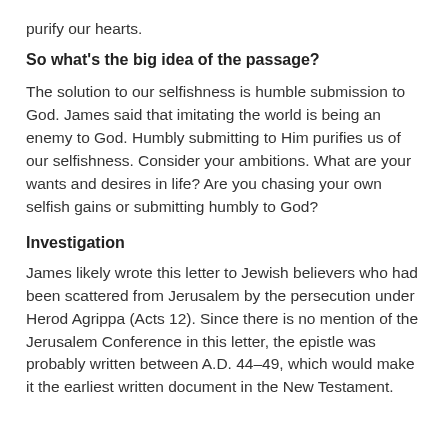purify our hearts.
So what's the big idea of the passage?
The solution to our selfishness is humble submission to God. James said that imitating the world is being an enemy to God. Humbly submitting to Him purifies us of our selfishness. Consider your ambitions. What are your wants and desires in life? Are you chasing your own selfish gains or submitting humbly to God?
Investigation
James likely wrote this letter to Jewish believers who had been scattered from Jerusalem by the persecution under Herod Agrippa (Acts 12). Since there is no mention of the Jerusalem Conference in this letter, the epistle was probably written between A.D. 44–49, which would make it the earliest written document in the New Testament.